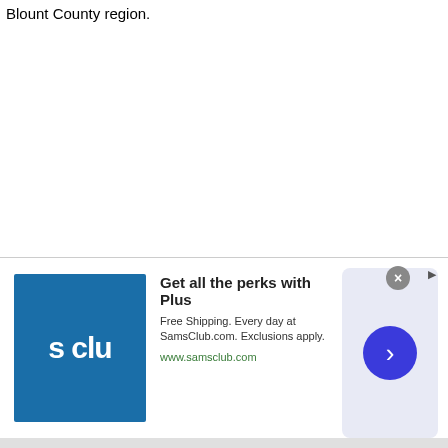Blount County region.
Towncharts.com  ©  2022  |  Privacy Policy
Towncharts Think Tank
Top 25 Cities Ranked for Every State
Free Market Research with Towncharts
Developing a Customer Profile
[Figure (screenshot): Sam's Club advertisement banner: 'Get all the perks with Plus. Free Shipping. Every day at SamsClub.com. Exclusions apply. www.samsclub.com' with S Club logo and navigation button.]